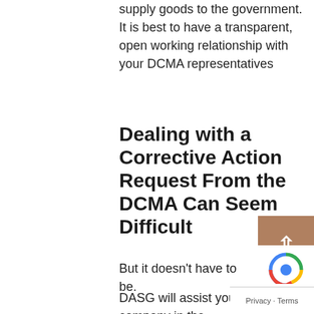supply goods to the government. It is best to have a transparent, open working relationship with your DCMA representatives
Dealing with a Corrective Action Request From the DCMA Can Seem Difficult
But it doesn’t have to be.
DASG will assist your company in the development and implementation of